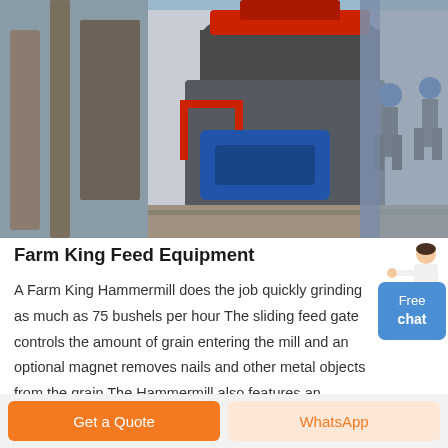[Figure (photo): Industrial hammermill/crusher machine with workers in hardhats standing nearby on a construction or industrial site. The large grey metal machine has red accent components and a blue motor section.]
Farm King Feed Equipment
A Farm King Hammermill does the job quickly grinding as much as 75 bushels per hour The sliding feed gate controls the amount of grain entering the mill and an optional magnet removes nails and other metal objects from the grain The Hammermill also features an optional discharge hopper and an adjustable motor mount that fits most
[Figure (illustration): Small customer service representative figure (woman in white) standing next to a blue Free chat button]
Free chat
Get a Quote   WhatsApp